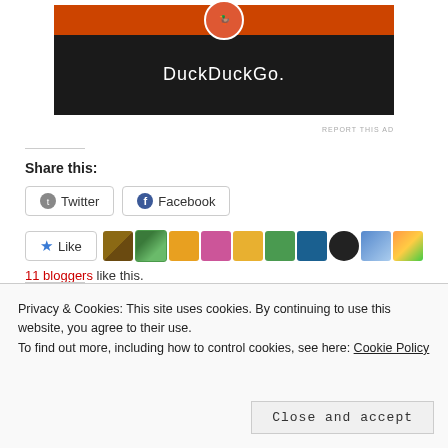[Figure (screenshot): DuckDuckGo advertisement banner with dark background and orange top, showing DuckDuckGo logo and name]
REPORT THIS AD
Share this:
Twitter  Facebook (share buttons)
Like  [11 blogger avatars]
11 bloggers like this.
Related
Circle of Life..    Go Bananas!
Privacy & Cookies: This site uses cookies. By continuing to use this website, you agree to their use.
To find out more, including how to control cookies, see here: Cookie Policy
Close and accept